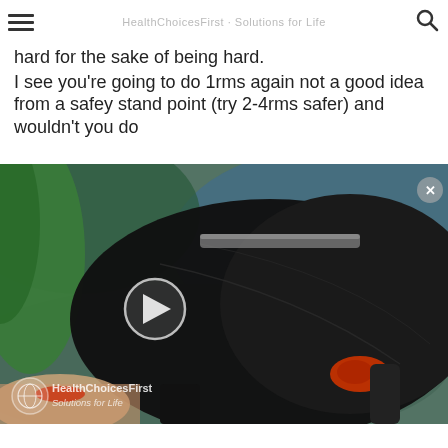HealthChoicesFirst · Solutions for Life
hard for the sake of being hard. I see you're going to do 1rms again not a good idea from a safey stand point (try 2-4rms safer) and wouldn't you do
[Figure (screenshot): Video thumbnail showing a cyclist in black cycling shorts and green top on a bicycle, with a play button overlay. HealthChoicesFirst Solutions for Life watermark in bottom left. Close button (x) in top right corner.]